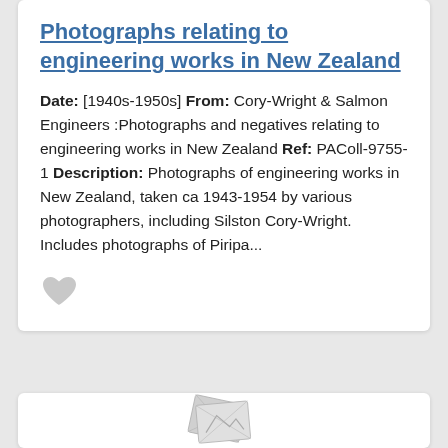Photographs relating to engineering works in New Zealand
Date: [1940s-1950s] From: Cory-Wright & Salmon Engineers :Photographs and negatives relating to engineering works in New Zealand Ref: PAColl-9755-1 Description: Photographs of engineering works in New Zealand, taken ca 1943-1954 by various photographers, including Silston Cory-Wright. Includes photographs of Piripa...
[Figure (illustration): A heart/favorite icon (outlined, grey) beneath the text block]
[Figure (illustration): A stack of photographs placeholder image (grey tones) in a second card below]